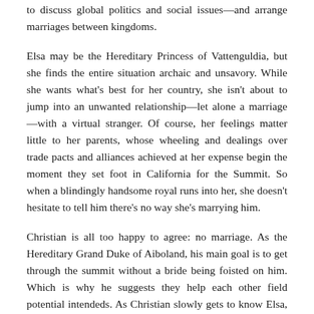to discuss global politics and social issues—and arrange marriages between kingdoms.
Elsa may be the Hereditary Princess of Vattenguldia, but she finds the entire situation archaic and unsavory. While she wants what's best for her country, she isn't about to jump into an unwanted relationship—let alone a marriage—with a virtual stranger. Of course, her feelings matter little to her parents, whose wheeling and dealings over trade pacts and alliances achieved at her expense begin the moment they set foot in California for the Summit. So when a blindingly handsome royal runs into her, she doesn't hesitate to tell him there's no way she's marrying him.
Christian is all too happy to agree: no marriage. As the Hereditary Grand Duke of Aiboland, his main goal is to get through the summit without a bride being foisted on him. Which is why he suggests they help each other field potential intendeds. As Christian slowly gets to know Elsa, though, he realizes they have a lot more in common than just their feelings about the Royal Marriage Market. Only he can't fall for her, because royal or not, they're not meant for each other.
There is Els—